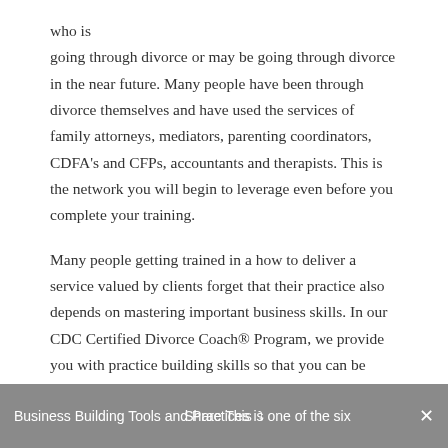who is going through divorce or may be going through divorce in the near future. Many people have been through divorce themselves and have used the services of family attorneys, mediators, parenting coordinators, CDFA's and CFPs, accountants and therapists. This is the network you will begin to leverage even before you complete your training.
Many people getting trained in a how to deliver a service valued by clients forget that their practice also depends on mastering important business skills. In our CDC Certified Divorce Coach® Program, we provide you with practice building skills so that you can be successful as a divorce coach.
Business Building Tools and Practices is one of the six